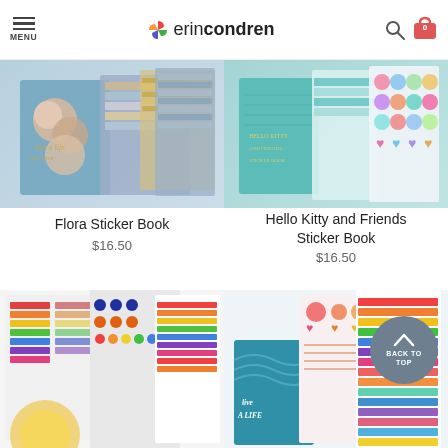MENU | erin condren
[Figure (photo): Flora Sticker Book product image showing blue floral cover with sticker sheets]
Flora Sticker Book
$16.50
[Figure (photo): Hello Kitty and Friends Sticker Book product image showing teal cover with sticker sheets]
Hello Kitty and Friends Sticker Book
$16.50
[Figure (photo): Colorful rainbow sticker sheets product image]
[Figure (photo): Live a Life sticker book product image with colorful sticker sheets]